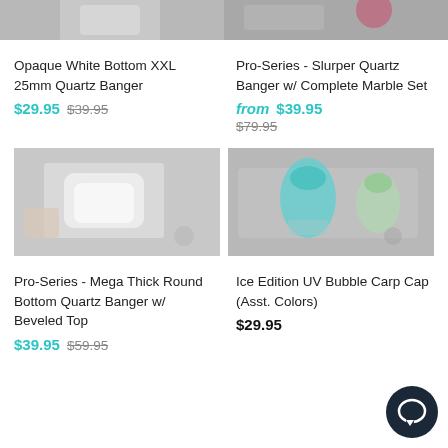[Figure (photo): Partial top crop of Opaque White Bottom XXL 25mm Quartz Banger product photo]
[Figure (photo): Partial top crop of Pro-Series Slurper Quartz Banger product photo]
Opaque White Bottom XXL 25mm Quartz Banger
$29.95 $39.95
Pro-Series - Slurper Quartz Banger w/ Complete Marble Set
from $39.95 $79.95
[Figure (photo): Pro-Series Mega Thick Round Bottom Quartz Banger w/ Beveled Top product photo]
[Figure (photo): Ice Edition UV Bubble Carp Cap Asst. Colors product photo]
Pro-Series - Mega Thick Round Bottom Quartz Banger w/ Beveled Top
$39.95 $59.95
Ice Edition UV Bubble Carp Cap (Asst. Colors)
$29.95